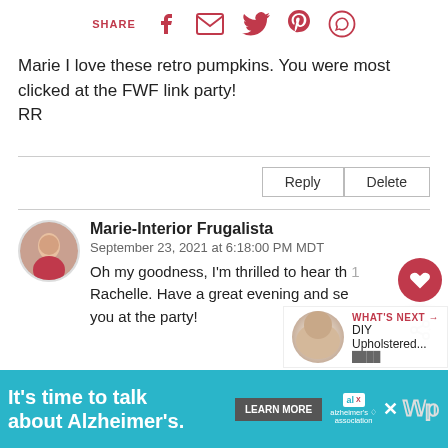[Figure (infographic): Social share bar with icons for Facebook, Email, Twitter, Pinterest, WhatsApp and SHARE label]
Marie I love these retro pumpkins. You were most clicked at the FWF link party!
RR
[Figure (infographic): Reply and Delete buttons]
[Figure (infographic): Avatar photo of Marie-Interior Frugalista commenter]
Marie-Interior Frugalista
September 23, 2021 at 6:18:00 PM MDT
Oh my goodness, I'm thrilled to hear th' Rachelle. Have a great evening and see you at the party!
[Figure (infographic): WHAT'S NEXT arrow with DIY Upholstered... thumbnail]
[Figure (infographic): Advertisement: It's time to talk about Alzheimer's. LEARN MORE button with Alzheimer's Association logo]